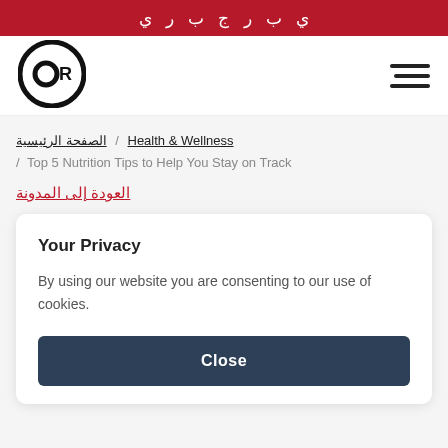ي ب ر ج ب ر ي
[Figure (logo): 9R circular logo in black and white]
Breadcrumb: الصفحة الرئيسية / Health & Wellness / Top 5 Nutrition Tips to Help You Stay on Track
العودة إلى المدونة
Your Privacy
By using our website you are consenting to our use of cookies.
Close